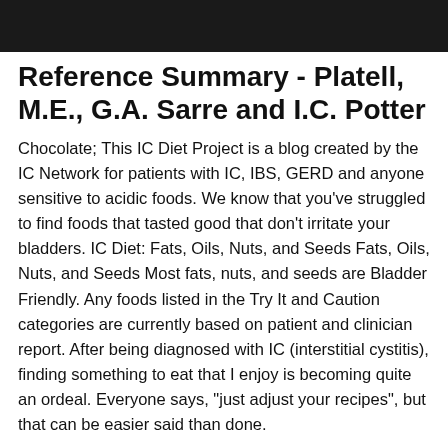[Figure (photo): Dark photograph strip at top of page]
Reference Summary - Platell, M.E., G.A. Sarre and I.C. Potter
Chocolate; This IC Diet Project is a blog created by the IC Network for patients with IC, IBS, GERD and anyone sensitive to acidic foods. We know that you’ve struggled to find foods that tasted good that don’t irritate your bladders. IC Diet: Fats, Oils, Nuts, and Seeds Fats, Oils, Nuts, and Seeds Most fats, nuts, and seeds are Bladder Friendly. Any foods listed in the Try It and Caution categories are currently based on patient and clinician report. After being diagnosed with IC (interstitial cystitis), finding something to eat that I enjoy is becoming quite an ordeal. Everyone says, “just adjust your recipes”, but that can be easier said than done.